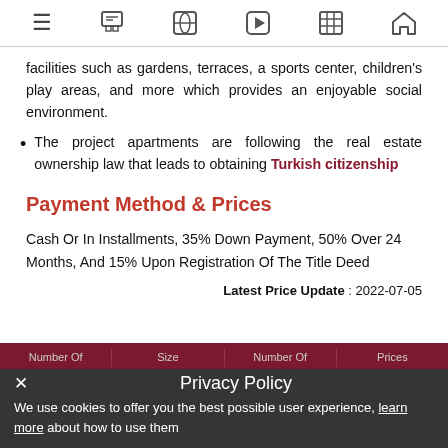Navigation bar with menu, gift, globe, play, grid, home icons
facilities such as gardens, terraces, a sports center, children's play areas, and more which provides an enjoyable social environment.
The project apartments are following the real estate ownership law that leads to obtaining Turkish citizenship
Payment Method & Prices
Cash Or In Installments, 35% Down Payment, 50% Over 24 Months, And 15% Upon Registration Of The Title Deed
Latest Price Update : 2022-07-05
| Number Of | Size | Number Of | Prices |
| --- | --- | --- | --- |
Privacy Policy
We use cookies to offer you the best possible user experience, learn more about how to use them